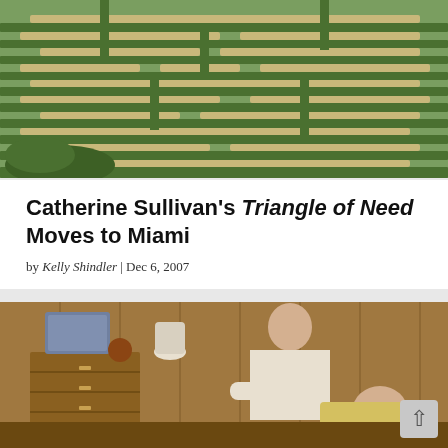[Figure (photo): Aerial view of a green hedge maze/labyrinth garden with winding paths viewed from above]
Catherine Sullivan's Triangle of Need Moves to Miami
by Kelly Shindler | Dec 6, 2007
[Figure (photo): Interior scene with wood-paneled walls showing two figures — one person leaning over another who is lying down, with a wooden dresser and mirror in the background]